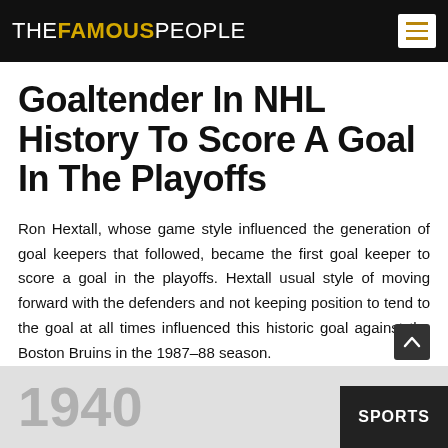THE FAMOUS PEOPLE
Goaltender In NHL History To Score A Goal In The Playoffs
Ron Hextall, whose game style influenced the generation of goal keepers that followed, became the first goal keeper to score a goal in the playoffs. Hextall usual style of moving forward with the defenders and not keeping position to tend to the goal at all times influenced this historic goal against the Boston Bruins in the 1987–88 season.
1940
SPORTS